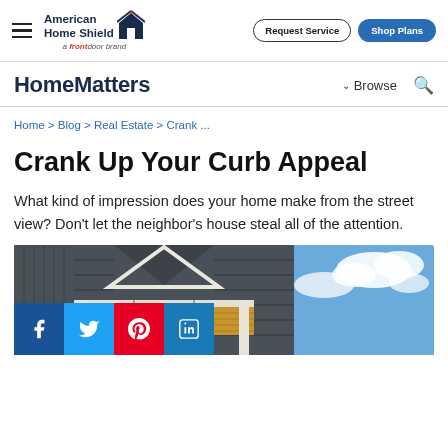American Home Shield — a frontdoor brand | Request Service | Shop Plans
HomeMatters | Browse
Home > Blog > Real Estate > Crank ...
Crank Up Your Curb Appeal
What kind of impression does your home make from the street view? Don't let the neighbor's house steal all of the attention.
[Figure (photo): Exterior of a house with dark gray siding, white trim, a covered front porch with wood ceiling and pendant lights, and a blue sky with clouds in the background.]